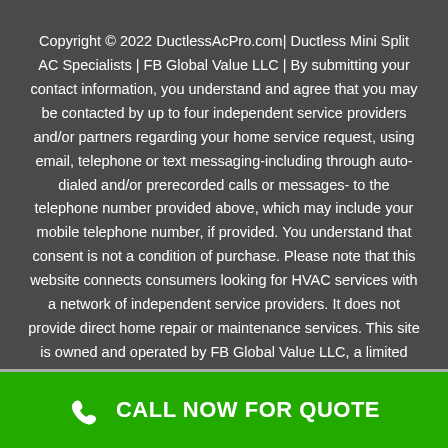Copyright © 2022 DuctlessAcPro.com| Ductless Mini Split AC Specialists | FB Global Value LLC | By submitting your contact information, you understand and agree that you may be contacted by up to four independent service providers and/or partners regarding your home service request, using email, telephone or text messaging-including through auto-dialed and/or prerecorded calls or messages- to the telephone number provided above, which may include your mobile telephone number, if provided. You understand that consent is not a condition of purchase. Please note that this website connects consumers looking for HVAC services with a network of independent service providers. It does not provide direct home repair or maintenance services. This site is owned and operated by FB Global Value LLC, a limited liability
[Figure (other): Green call-to-action button bar with phone icon and text CALL NOW FOR QUOTE]